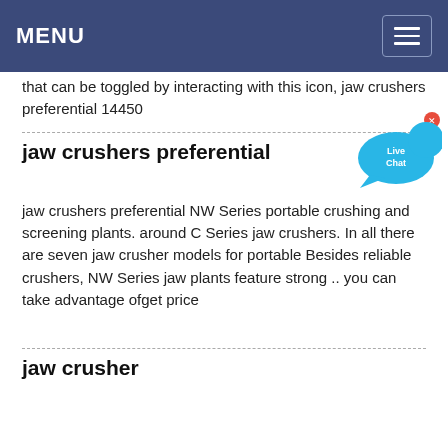MENU
that can be toggled by interacting with this icon, jaw crushers preferential 14450
jaw crushers preferential
[Figure (illustration): Live Chat bubble widget with blue speech bubble shape, 'Live Chat' text in white, and a small 'x' close button]
jaw crushers preferential NW Series portable crushing and screening plants. around C Series jaw crushers. In all there are seven jaw crusher models for portable Besides reliable crushers, NW Series jaw plants feature strong .. you can take advantage ofget price
jaw crusher